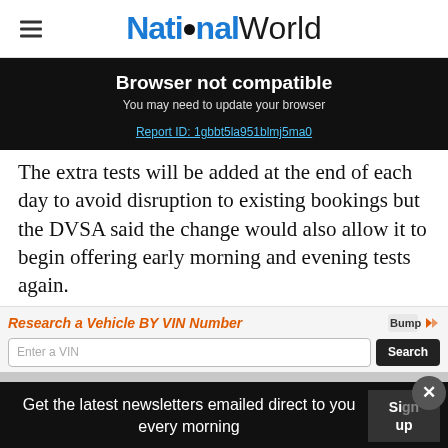NationalWorld
Browser not compatible
You may need to update your browser
Report ID: 1gbbt5la951blmj5ma0
The extra tests will be added at the end of each day to avoid disruption to existing bookings but the DVSA said the change would also allow it to begin offering early morning and evening tests again.
[Figure (infographic): Advertisement banner: Research a Vehicle BY VIN Number with Bump branding, VIN input field and Search button]
Th... add... ily
Get the latest newsletters emailed direct to you every morning